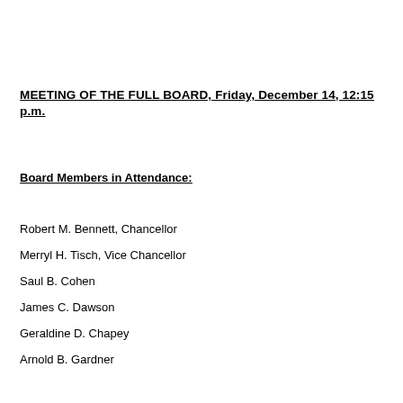MEETING OF THE FULL BOARD, Friday, December 14, 12:15 p.m.
Board Members in Attendance:
Robert M. Bennett, Chancellor
Merryl H. Tisch, Vice Chancellor
Saul B. Cohen
James C. Dawson
Geraldine D. Chapey
Arnold B. Gardner